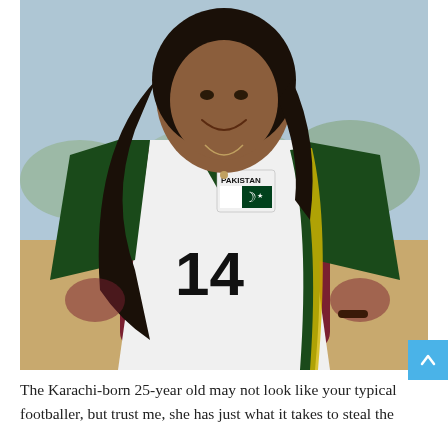[Figure (photo): A young woman smiling, wearing a white Pakistan national football jersey with number 14 and the Pakistan flag badge, with long curly dark hair, standing outdoors with a blurred field/trees background.]
The Karachi-born 25-year old may not look like your typical footballer, but trust me, she has just what it takes to steal the